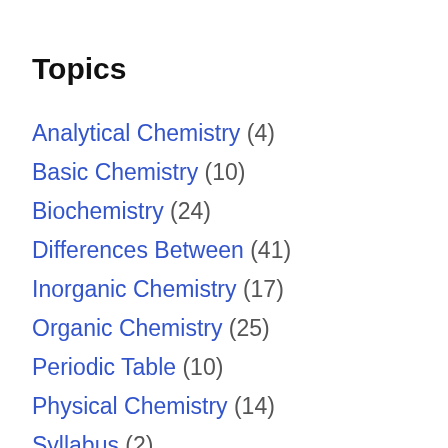Topics
Analytical Chemistry (4)
Basic Chemistry (10)
Biochemistry (24)
Differences Between (41)
Inorganic Chemistry (17)
Organic Chemistry (25)
Periodic Table (10)
Physical Chemistry (14)
Syllabus (2)